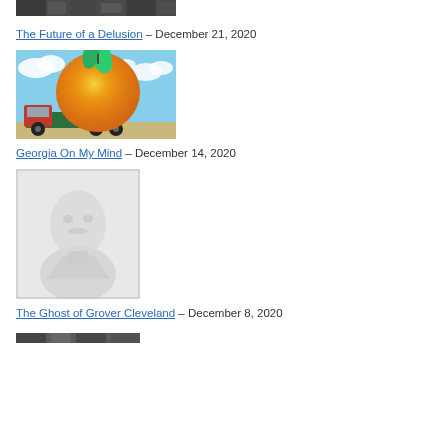[Figure (photo): Cropped top portion of a crowd photo, partially visible]
The Future of a Delusion – December 21, 2020
[Figure (illustration): Illustration of a large orange/peach on a green flatbed truck against a blue sky with clouds]
Georgia On My Mind – December 14, 2020
[Figure (photo): Faded black and white portrait photograph of a man, likely historical, identified as Grover Cleveland]
The Ghost of Grover Cleveland – December 8, 2020
[Figure (photo): Cropped top portion of another photo, partially visible at bottom of page]